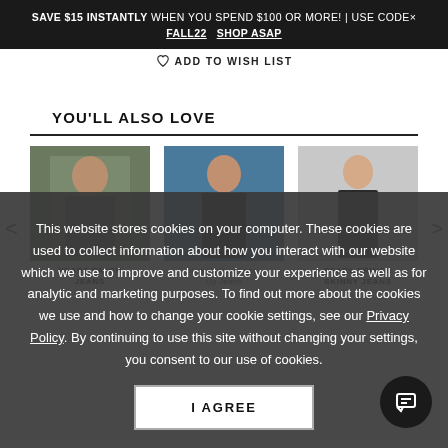SAVE $15 INSTANTLY WHEN YOU SPEND $100 OR MORE! | USE CODE× FALL22   SHOP ASAP
ADD TO WISH LIST
YOU'LL ALSO LOVE
[Figure (photo): Three product photos: woman in grey off-shoulder top (HEART PATCH JEANS), woman in black lace bodysuit (New Vintage Lace-Up Jeans), woman in black suit (PEARL FRINGE SKINNY JEANS)]
This website stores cookies on your computer. These cookies are used to collect information about how you interact with our website which we use to improve and customize your experience as well as for analytic and marketing purposes. To find out more about the cookies we use and how to change your cookie settings, see our Privacy Policy. By continuing to use this site without changing your settings, you consent to our use of cookies.
I AGREE